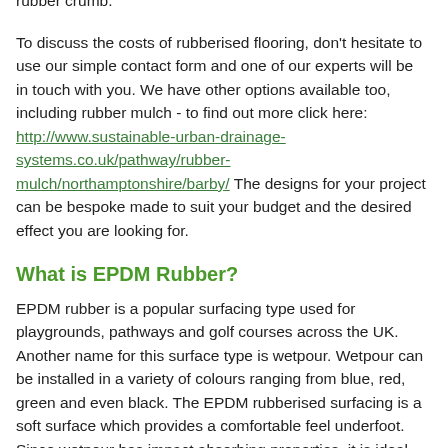system is completely porous meaning it is suitable for all weather conditions as water can easily soak through the rubber crumb.
To discuss the costs of rubberised flooring, don't hesitate to use our simple contact form and one of our experts will be in touch with you. We have other options available too, including rubber mulch - to find out more click here: http://www.sustainable-urban-drainage-systems.co.uk/pathway/rubber-mulch/northamptonshire/barby/ The designs for your project can be bespoke made to suit your budget and the desired effect you are looking for.
What is EPDM Rubber?
EPDM rubber is a popular surfacing type used for playgrounds, pathways and golf courses across the UK. Another name for this surface type is wetpour. Wetpour can be installed in a variety of colours ranging from blue, red, green and even black. The EPDM rubberised surfacing is a soft surface which provides a comfortable feel underfoot. Since wetpour has impact absorbing properties, it is ideal for areas where children could be making use of the pathway. If people fall on the rubber floor they will not be injured due to the safety features of the flooring.